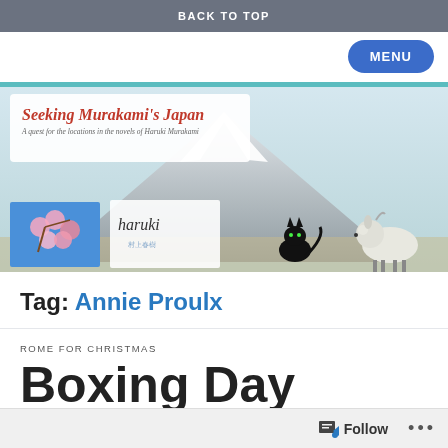BACK TO TOP
[Figure (screenshot): Website banner for 'Seeking Murakami's Japan' blog with Mount Fuji background, logo box, cherry blossoms, Haruki signature, black cat, and sheep illustrations]
Tag: Annie Proulx
ROME FOR CHRISTMAS
Boxing Day